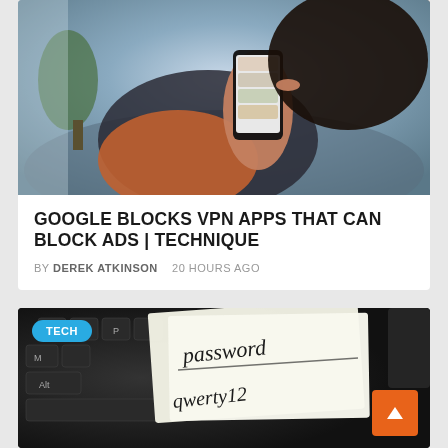[Figure (photo): Person sitting on couch using a smartphone, browsing food-related content. A plant is visible in the background.]
GOOGLE BLOCKS VPN APPS THAT CAN BLOCK ADS | TECHNIQUE
BY DEREK ATKINSON   20 HOURS AGO
[Figure (photo): Laptop keyboard with paper notes showing handwritten passwords including 'password' and 'qwerty123'. A TECH badge label is visible.]